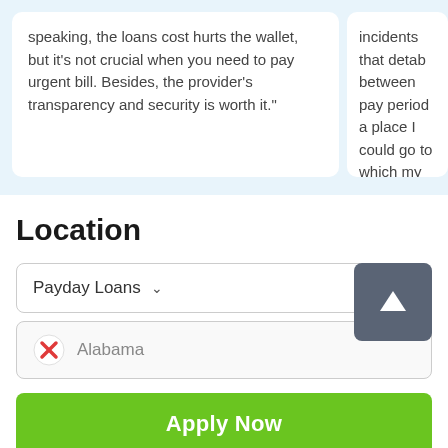speaking, the loans cost hurts the wallet, but it's not crucial when you need to pay urgent bill. Besides, the provider's transparency and security is worth it."
incidents that detab between pay period a place I could go to which my employee week ($2000). I went
Location
Payday Loans ∨
Alabama
Apply Now
Applying does NOT affect your credit score!
No credit check to apply.